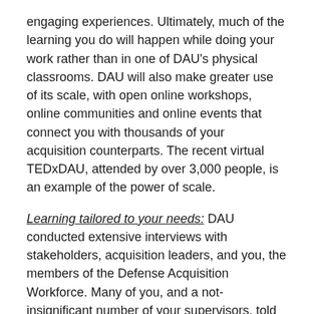engaging experiences. Ultimately, much of the learning you do will happen while doing your work rather than in one of DAU's physical classrooms. DAU will also make greater use of its scale, with open online workshops, online communities and online events that connect you with thousands of your acquisition counterparts. The recent virtual TEDxDAU, attended by over 3,000 people, is an example of the power of scale.
Learning tailored to your needs: DAU conducted extensive interviews with stakeholders, acquisition leaders, and you, the members of the Defense Acquisition Workforce. Many of you, and a not-insignificant number of your supervisors, told us the training received from DAU was too general and didn't meet the specific needs of your job or role. To increase the return on investment you make in training and development, DAU has embraced the ethos of the Back-to-Basics initiative and is actively developing job and role-based credentials. These credentials are